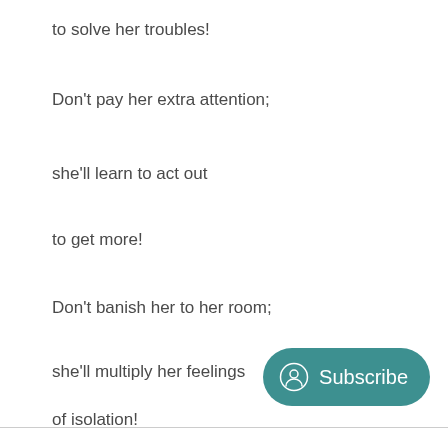to solve her troubles!
Don't pay her extra attention;
she'll learn to act out
to get more!
Don't banish her to her room;
she'll multiply her feelings
of isolation!